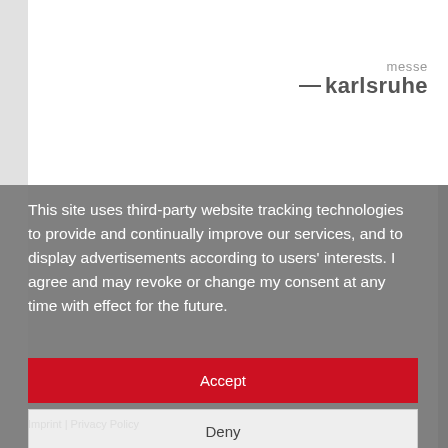[Figure (logo): Messe Karlsruhe logo with dash and text]
This site uses third-party website tracking technologies to provide and continually improve our services, and to display advertisements according to users' interests. I agree and may revoke or change my consent at any time with effect for the future.
Accept
Deny
more
Imprint | Privacy Policy